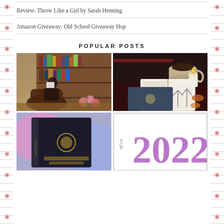Review: Throw Like a Girl by Sarah Henning
Amazon Giveaway: Old School Giveaway Hop
POPULAR POSTS
[Figure (photo): Person reading a book while sitting in a leather armchair in a room full of bookshelves with flowers on the floor]
[Figure (photo): Flat lay of an open book, a closed dark blue hardcover book, a cup of tea, a candle, and autumn leaves on a dark background]
[Figure (photo): Close-up of a dark hardcover book with gold lettering and illustration on spine/cover, blurred colorful background]
[Figure (other): Graphic with eFox logo and large purple '2022' text on white background]